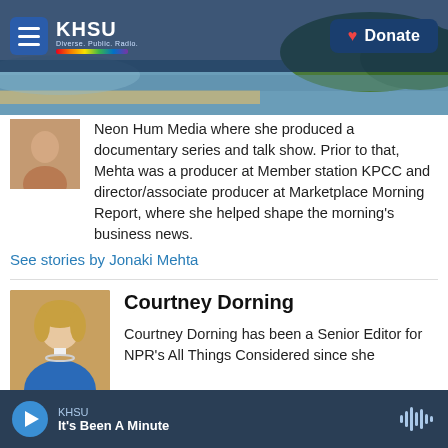[Figure (screenshot): KHSU radio station website screenshot with navigation bar showing hamburger menu, KHSU logo with rainbow bar, and Donate button. Hero image shows coastal landscape with ocean, beach, and forested hills.]
Neon Hum Media where she produced a documentary series and talk show. Prior to that, Mehta was a producer at Member station KPCC and director/associate producer at Marketplace Morning Report, where she helped shape the morning's business news.
See stories by Jonaki Mehta
Courtney Dorning
Courtney Dorning has been a Senior Editor for NPR's All Things Considered since she joined the show in 2018.
KHSU
It's Been A Minute